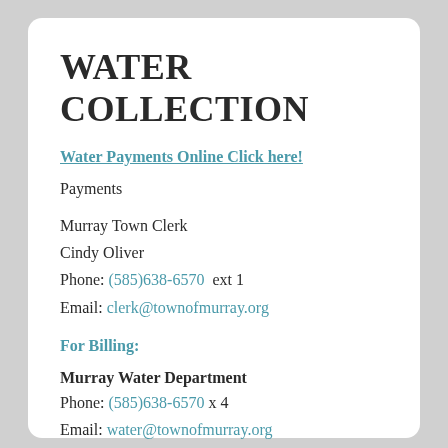WATER COLLECTION
Water Payments Online Click here!
Payments
Murray Town Clerk
Cindy Oliver
Phone: (585)638-6570  ext 1
Email: clerk@townofmurray.org
For Billing:
Murray Water Department
Phone: (585)638-6570 x 4
Email: water@townofmurray.org